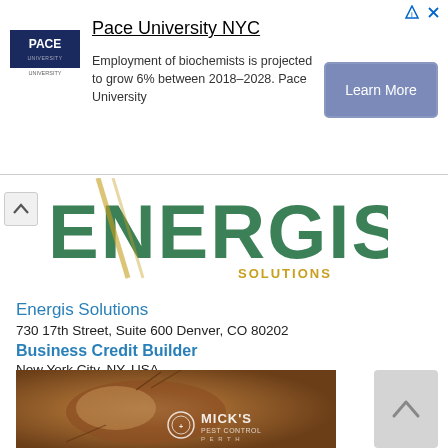[Figure (infographic): Advertisement banner for Pace University NYC featuring the Pace University logo, text about biochemist employment projection, and a Learn More button]
[Figure (logo): Energis Solutions logo in large green letters with golden 'SOLUTIONS' subtitle]
Energis Solutions
730 17th Street, Suite 600 Denver, CO 80202
Business Credit Builder
New York City, NY, USA
$100.00
[Figure (photo): Close-up macro photo of a flea insect with Mick's Pest Control Perth logo watermark]
[Figure (other): Scroll to top button with upward caret arrow]